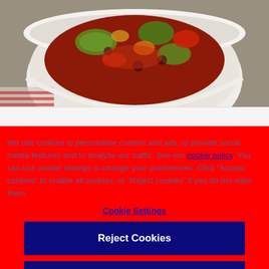[Figure (photo): A white bowl containing a colorful vegetable stew or ratatouille with zucchini, tomatoes, peppers and other vegetables, photographed from above on a gray background with a striped cloth underneath]
We use cookies to personalize content and ads, to provide social media features and to analyze our traffic. See our cookie policy. You can use cookie settings to change your preferences. Click "Accept cookies" to enable all cookies, or "Reject cookies" if you do not want them.
Cookie Settings
Reject Cookies
Accept Cookies